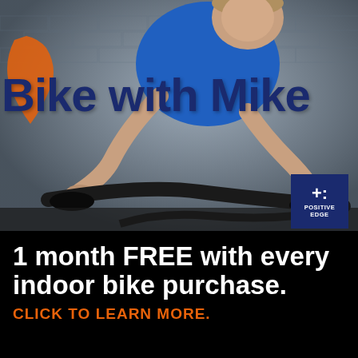[Figure (photo): A smiling man in a blue t-shirt riding an indoor stationary bike, photographed against a brick wall background. An orange swoosh logo appears in the upper left. Text 'Bike with Mike' overlays the image in large dark navy bold font. A 'Positive Edge' badge with a plus sign appears in the lower right of the photo area.]
1 month FREE with every indoor bike purchase.
CLICK TO LEARN MORE.